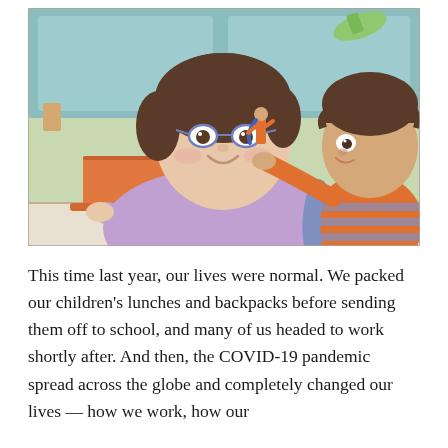[Figure (illustration): A colored pencil illustration showing a woman with glasses and short dark hair sitting at a table working on an orange laptop. A young child in a striped orange and blue shirt reaches toward her holding a small superhero toy figure. In the background is a couch, green carpet, a ball, and a sock visible on the couch. The scene depicts working from home during the pandemic while caring for children.]
This time last year, our lives were normal. We packed our children's lunches and backpacks before sending them off to school, and many of us headed to work shortly after. And then, the COVID-19 pandemic spread across the globe and completely changed our lives — how we work, how our